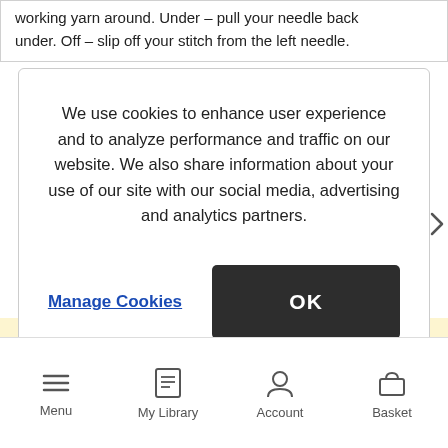working yarn around. Under – pull your needle back under. Off – slip off your stitch from the left needle.
We use cookies to enhance user experience and to analyze performance and traffic on our website. We also share information about your use of our site with our social media, advertising and analytics partners.
Manage Cookies
OK
Switch to United States
Stay on United Kingdom
Menu  My Library  Account  Basket